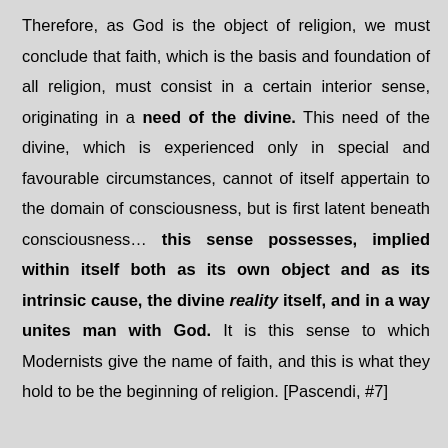Therefore, as God is the object of religion, we must conclude that faith, which is the basis and foundation of all religion, must consist in a certain interior sense, originating in a need of the divine. This need of the divine, which is experienced only in special and favourable circumstances, cannot of itself appertain to the domain of consciousness, but is first latent beneath consciousness… this sense possesses, implied within itself both as its own object and as its intrinsic cause, the divine reality itself, and in a way unites man with God. It is this sense to which Modernists give the name of faith, and this is what they hold to be the beginning of religion. [Pascendi, #7]